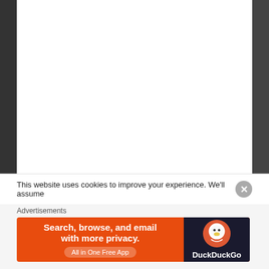Follow me on Twitter
Tweets from @LoveLDNLoveCul
LoveLDNLoveCulture Retweeted
MyTheatreMates @MyTheatreMates · 6h
'The audience involvement is what makes it special': @LoveLDNLoveCul's @LoveLDNLoveCul chats to #JulianForsyth about returning to the role of Arthur Kipps in
This website uses cookies to improve your experience. We'll assume
Advertisements
[Figure (screenshot): DuckDuckGo advertisement banner: orange background with text 'Search, browse, and email with more privacy.' and 'All in One Free App', with DuckDuckGo logo on dark right panel]